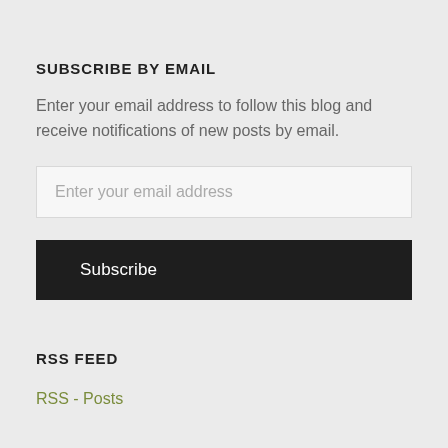SUBSCRIBE BY EMAIL
Enter your email address to follow this blog and receive notifications of new posts by email.
Enter your email address
Subscribe
RSS FEED
RSS - Posts